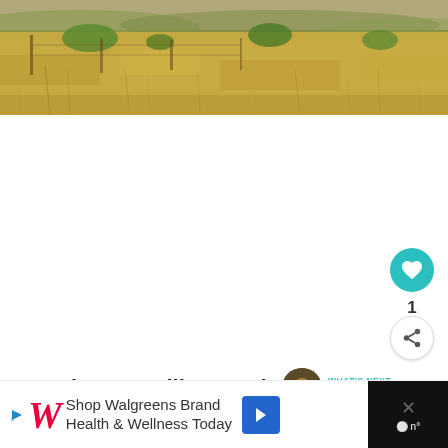[Figure (photo): Landscape photo of dry grassy scrubland with sparse green bushes and dried yellow-brown grass, fence posts visible in background, overcast sky]
Camping at Malibu Creek State Park
[Figure (infographic): UI overlay showing a teal heart/like button with count of 1, a share button, a 'What's Next' card with thumbnail and text 'Rickshaw Run FAQs', and a Walgreens advertisement banner at the bottom reading 'Shop Walgreens Brand Health & Wellness Today']